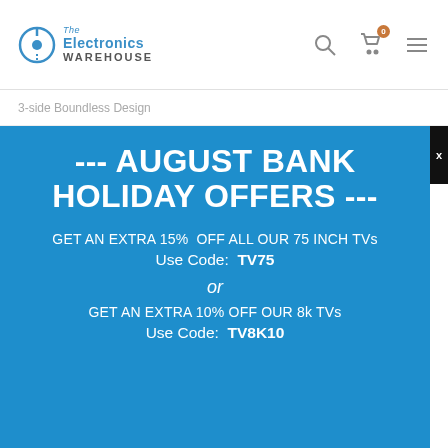Electronics Warehouse — navigation header with logo, search, cart (0), menu
3-side Boundless Design
[Figure (infographic): August Bank Holiday promotional banner on blue background with white text offering 15% off 75 inch TVs (code TV75) or 10% off 8k TVs (code TV8K10), with an X close button on the right]
--- AUGUST BANK HOLIDAY OFFERS ---
GET AN EXTRA 15%  OFF ALL OUR 75 INCH TVs
Use Code:  TV75
or
GET AN EXTRA 10% OFF OUR 8k TVs
Use Code:  TV8K10